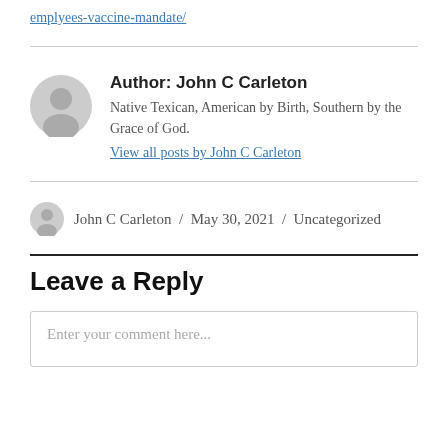emplyees-vaccine-mandate/
Author: John C Carleton
Native Texican, American by Birth, Southern by the Grace of God.
View all posts by John C Carleton
John C Carleton / May 30, 2021 / Uncategorized
Leave a Reply
Enter your comment here...